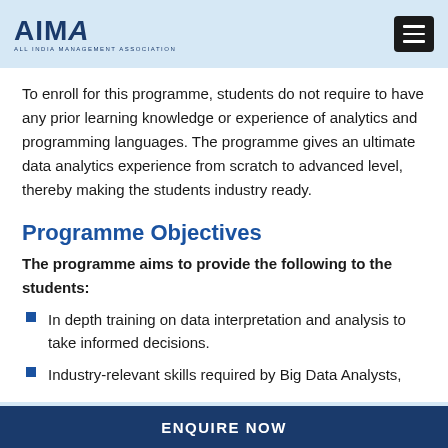AIMA — ALL INDIA MANAGEMENT ASSOCIATION
To enroll for this programme, students do not require to have any prior learning knowledge or experience of analytics and programming languages. The programme gives an ultimate data analytics experience from scratch to advanced level, thereby making the students industry ready.
Programme Objectives
The programme aims to provide the following to the students:
In depth training on data interpretation and analysis to take informed decisions.
Industry-relevant skills required by Big Data Analysts,
ENQUIRE NOW